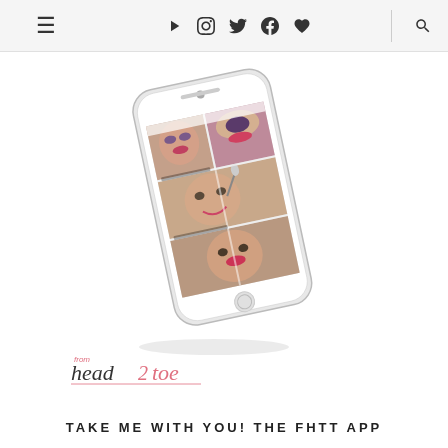≡  ▶  📷  𝕏  f  ♥  🔍
[Figure (illustration): A white iPhone shown at an angle displaying makeup tutorial thumbnails showing women's faces with cosmetics, the FHTT app interface.]
[Figure (logo): From Head 2 Toe (fhead2toe) logo in pink/coral script text]
TAKE ME WITH YOU! THE FHTT APP